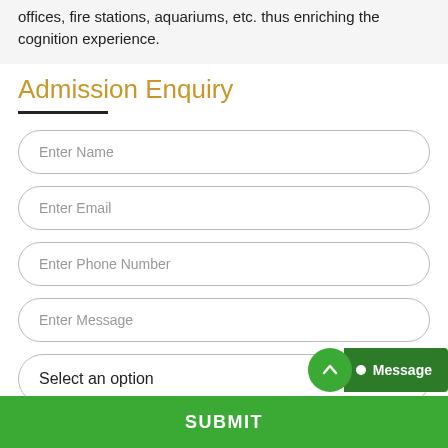offices, fire stations, aquariums, etc. thus enriching the cognition experience.
Admission Enquiry
Enter Name
Enter Email
Enter Phone Number
Enter Message
Select an option
SUBMIT
Message